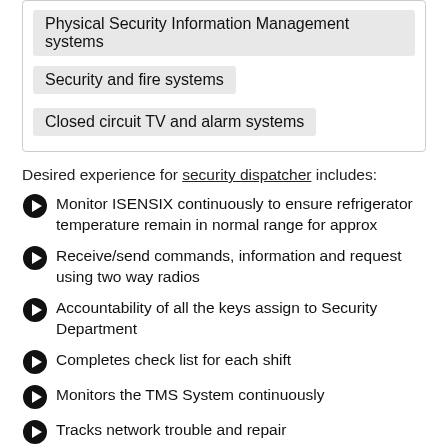Physical Security Information Management systems
Security and fire systems
Closed circuit TV and alarm systems
Desired experience for security dispatcher includes:
Monitor ISENSIX continuously to ensure refrigerator temperature remain in normal range for approx
Receive/send commands, information and request using two way radios
Accountability of all the keys assign to Security Department
Completes check list for each shift
Monitors the TMS System continuously
Tracks network trouble and repair